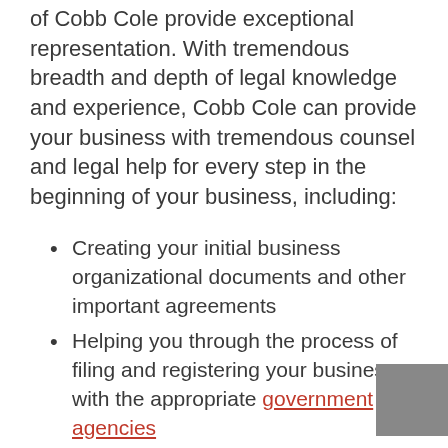of Cobb Cole provide exceptional representation. With tremendous breadth and depth of legal knowledge and experience, Cobb Cole can provide your business with tremendous counsel and legal help for every step in the beginning of your business, including:
Creating your initial business organizational documents and other important agreements
Helping you through the process of filing and registering your business with the appropriate government agencies
Creating employment policies and best practices
Negotiating contracts with employees and